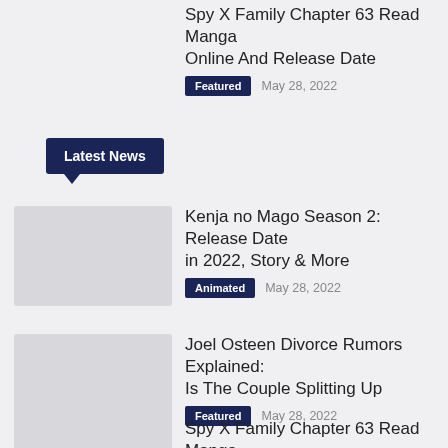Spy X Family Chapter 63 Read Manga Online And Release Date
Featured   May 28, 2022
Latest News
Kenja no Mago Season 2: Release Date in 2022, Story & More
Animated   May 28, 2022
Joel Osteen Divorce Rumors Explained: Is The Couple Splitting Up
Featured   May 28, 2022
Spy X Family Chapter 63 Read Manga Online And Release Date